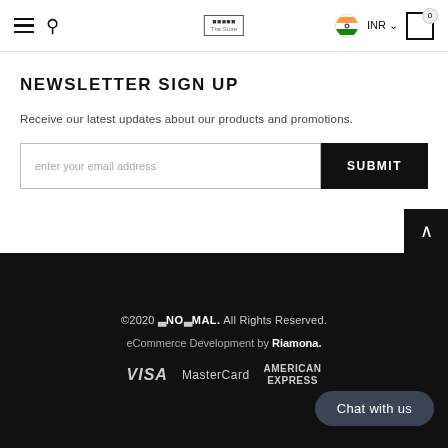≡  🔍  [logo]  🇮🇳 INR  ∨  🛒 0
NEWSLETTER SIGN UP
Receive our latest updates about our products and promotions.
enter your email address  [SUBMIT]
©2020 ✦NO✦MAL. All Rights Reserved.
eCommerce Development by Riamona.
VISA  MasterCard  AMERICAN EXPRESS  Chat with us